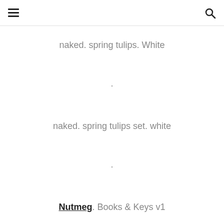≡  [search icon]
naked. spring tulips. White
·
naked. spring tulips set. white
·
Nutmeg. Books & Keys v1
·
Nutmeg. Books & Keys v2